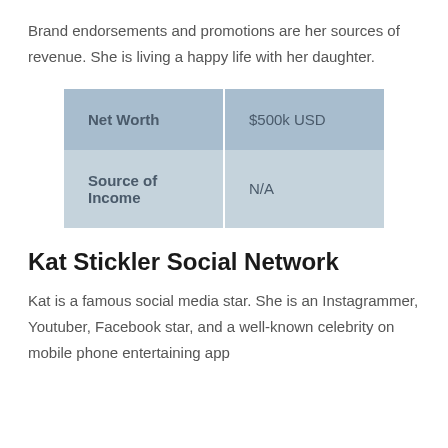Brand endorsements and promotions are her sources of revenue. She is living a happy life with her daughter.
| Net Worth | $500k USD |
| Source of Income | N/A |
Kat Stickler Social Network
Kat is a famous social media star. She is an Instagrammer, Youtuber, Facebook star, and a well-known celebrity on mobile phone entertaining app